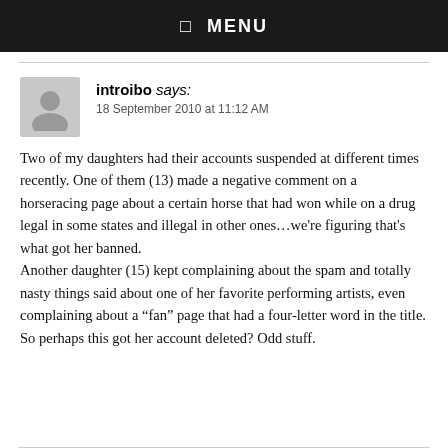☰ MENU
introibo says:
18 September 2010 at 11:12 AM
Two of my daughters had their accounts suspended at different times recently. One of them (13) made a negative comment on a horseracing page about a certain horse that had won while on a drug legal in some states and illegal in other ones…we're figuring that's what got her banned.
Another daughter (15) kept complaining about the spam and totally nasty things said about one of her favorite performing artists, even complaining about a “fan” page that had a four-letter word in the title. So perhaps this got her account deleted? Odd stuff.